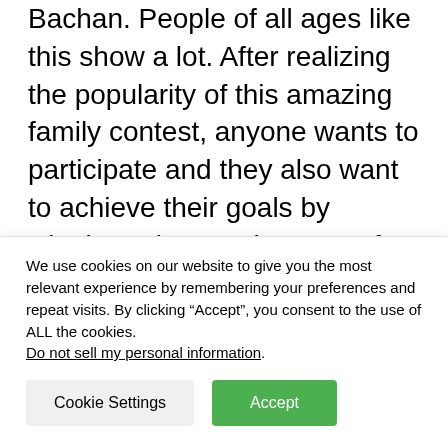Bachan. People of all ages like this show a lot. After realizing the popularity of this amazing family contest, anyone wants to participate and they also want to achieve their goals by winning prizes and money. If you want to participate in the KBC show, you can call KBC's central office number or KBC's WhatsApp number at +19188444454.
KBC (Kaun Banega Crorepati), Who Willpower Crorepati or Millionaire, Is the show of...
We use cookies on our website to give you the most relevant experience by remembering your preferences and repeat visits. By clicking “Accept”, you consent to the use of ALL the cookies.
Do not sell my personal information.
Cookie Settings
Accept